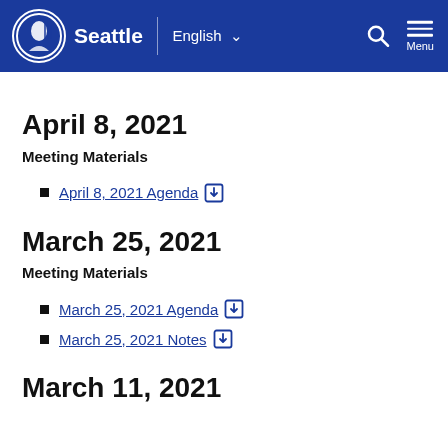Seattle | English Menu
April 8, 2021
Meeting Materials
April 8, 2021 Agenda
March 25, 2021
Meeting Materials
March 25, 2021 Agenda
March 25, 2021 Notes
March 11, 2021